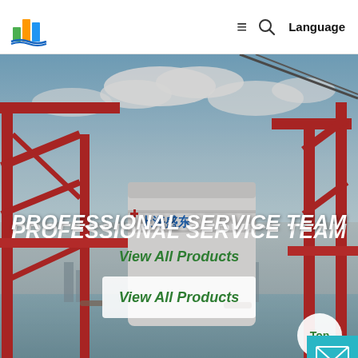Logo | ≡ Q Language
[Figure (photo): Industrial port scene with large red gantry cranes, a white cylindrical tank with Chinese text 上海盛东, cloudy sky, harbor and city in background. Bold italic text 'PROFESSIONAL SERVICE TEAM' overlaid in white across the middle. A 'View All Products' button in white box below.]
PROFESSIONAL SERVICE TEAM
View All Products